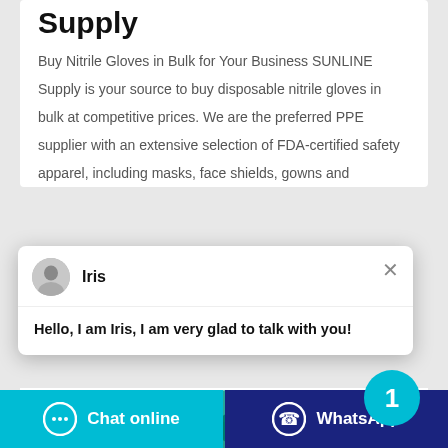Supply
Buy Nitrile Gloves in Bulk for Your Business SUNLINE Supply is your source to buy disposable nitrile gloves in bulk at competitive prices. We are the preferred PPE supplier with an extensive selection of FDA-certified safety apparel, including masks, face shields, gowns and
[Figure (screenshot): Chat popup widget with avatar of agent named Iris and greeting message: Hello, I am Iris, I am very glad to talk with you!]
[Figure (illustration): Teal/green nitrile gloves illustration]
[Figure (other): Circular teal badge with number 1]
Chat online
WhatsApp